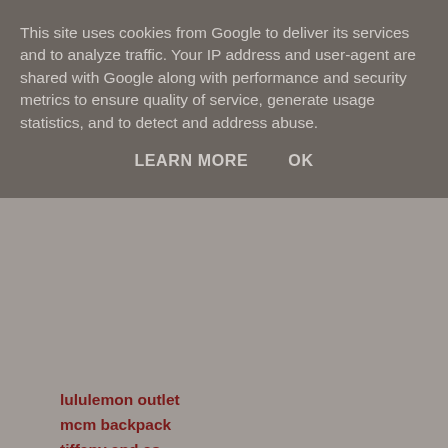This site uses cookies from Google to deliver its services and to analyze traffic. Your IP address and user-agent are shared with Google along with performance and security metrics to ensure quality of service, generate usage statistics, and to detect and address abuse.
LEARN MORE   OK
lululemon outlet
mcm backpack
tiffany and co
longchamp outlet
true religion jeans
louis vuitton outlet
michael kors outlet online
cartier watches
michael kors handbags
louis vuitton outlet store
ghd uk
polo ralph lauren
cartier outlet
rolex outlet
nike air huarache